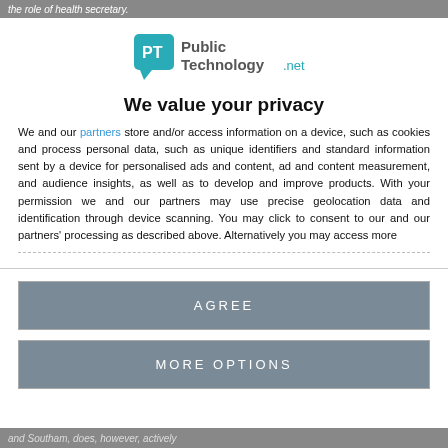the role of health secretary.
[Figure (logo): PublicTechnology.net logo — teal speech bubble icon with 'PT' initials, followed by 'Public Technology.net' text in grey and teal]
We value your privacy
We and our partners store and/or access information on a device, such as cookies and process personal data, such as unique identifiers and standard information sent by a device for personalised ads and content, ad and content measurement, and audience insights, as well as to develop and improve products. With your permission we and our partners may use precise geolocation data and identification through device scanning. You may click to consent to our and our partners' processing as described above. Alternatively you may access more
AGREE
MORE OPTIONS
and Southam, does, however, actively